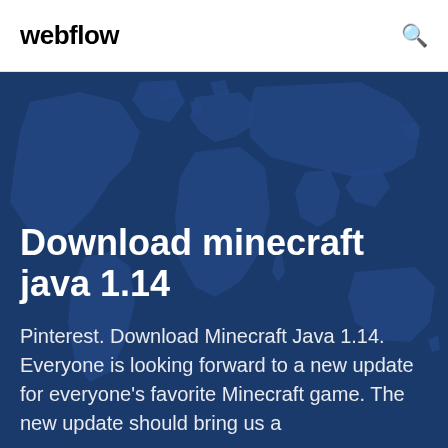webflow
[Figure (illustration): World map silhouette illustration on a dark blue background, showing continental outlines in a slightly lighter blue tone, serving as a decorative hero background.]
Download minecraft java 1.14
Pinterest. Download Minecraft Java 1.14. Everyone is looking forward to a new update for everyone's favorite Minecraft game. The new update should bring us a